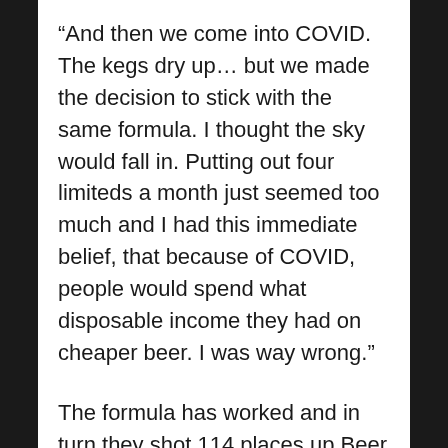“And then we come into COVID. The kegs dry up… but we made the decision to stick with the same formula. I thought the sky would fall in. Putting out four limiteds a month just seemed too much and I had this immediate belief, that because of COVID, people would spend what disposable income they had on cheaper beer. I was way wrong.”
The formula has worked and in turn they shot 114 places up Beer Cartel’s 2020 Australian Craft Beer Survey’s best Australian craft beer brewery ladder to rank fifth.
And in collaboration with Beer Cartel is where